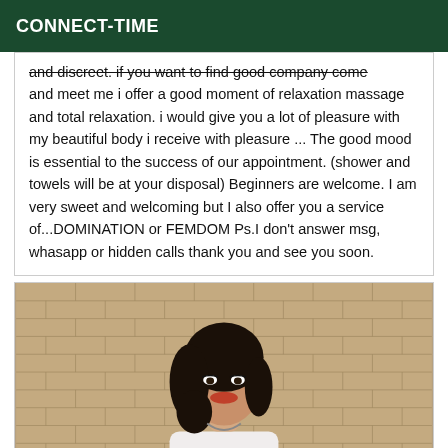CONNECT-TIME
and discreet. if you want to find good company come and meet me i offer a good moment of relaxation massage and total relaxation. i would give you a lot of pleasure with my beautiful body i receive with pleasure ... The good mood is essential to the success of our appointment. (shower and towels will be at your disposal) Beginners are welcome. I am very sweet and welcoming but I also offer you a service of...DOMINATION or FEMDOM Ps.I don't answer msg, whasapp or hidden calls thank you and see you soon.
[Figure (photo): Woman with dark hair posing in front of a brick wall, wearing a white top and necklace.]